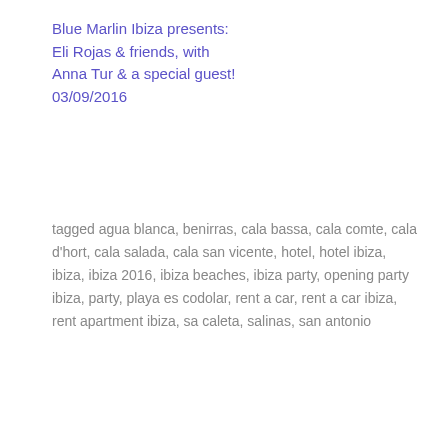Blue Marlin Ibiza presents: Eli Rojas & friends, with Anna Tur & a special guest!
03/09/2016
tagged agua blanca, benirras, cala bassa, cala comte, cala d'hort, cala salada, cala san vicente, hotel, hotel ibiza, ibiza, ibiza 2016, ibiza beaches, ibiza party, opening party ibiza, party, playa es codolar, rent a car, rent a car ibiza, rent apartment ibiza, sa caleta, salinas, san antonio
PREVIOUS POST
Nice to be announces Sven Väth, Green Velvet, Mathew Jonson and Shed!
NEXT POST